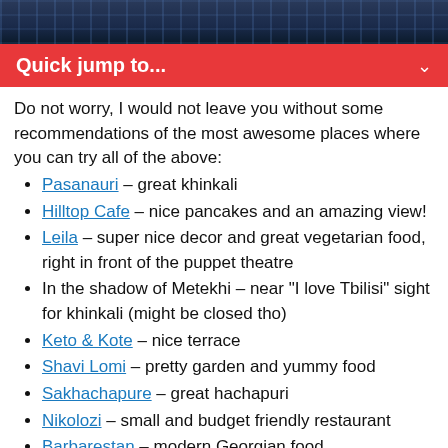[Figure (photo): Dark blurred background photo bar at the top of the page]
Quick jump to...
Do not worry, I would not leave you without some recommendations of the most awesome places where you can try all of the above:
Pasanauri – great khinkali
Hilltop Cafe – nice pancakes and an amazing view!
Leila – super nice decor and great vegetarian food, right in front of the puppet theatre
In the shadow of Metekhi – near "I love Tbilisi" sight for khinkali (might be closed tho)
Keto & Kote – nice terrace
Shavi Lomi – pretty garden and yummy food
Sakhachapure – great hachapuri
Nikolozi – small and budget friendly restaurant
Barbarestan – modern Georgian food
Zakhar Zakharich If you still haven't had enough khachapuri yet 🙂
Kiwi vegan cafe – great place for all my vegan readers (the rest of you as well)